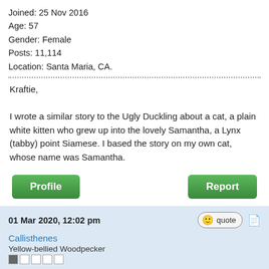Joined: 25 Nov 2016
Age: 57
Gender: Female
Posts: 11,114
Location: Santa Maria, CA.
Kraftie,

I wrote a similar story to the Ugly Duckling about a cat, a plain white kitten who grew up into the lovely Samantha, a Lynx (tabby) point Siamese. I based the story on my own cat, whose name was Samantha.
Profile
Report
01 Mar 2020, 12:02 pm
quote
Callisthenes
Yellow-bellied Woodpecker
Joined: 15 Feb 2020
Age: 35
Gender: Male